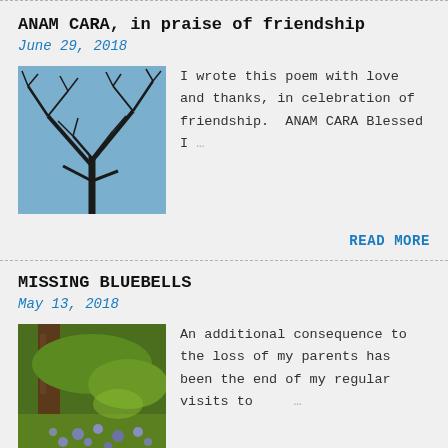ANAM CARA, in praise of friendship
June 29, 2018
[Figure (photo): Photo of tree branches silhouetted against a blue sky]
I wrote this poem with love and thanks, in celebration of friendship.  ANAM CARA Blessed I …
READ MORE
MISSING BLUEBELLS
May 13, 2018
[Figure (photo): Photo of a bluebell woodland with purple flowers and green grass]
An additional consequence to the loss of my parents has been the end of my regular visits to    …
READ MORE